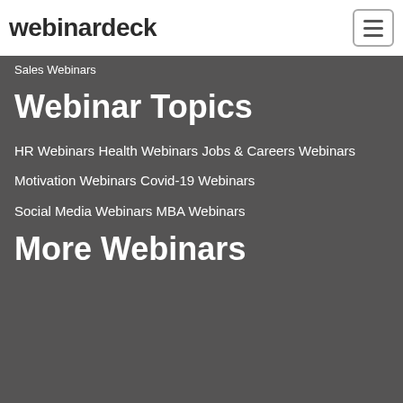webinardeck
Sales Webinars
Webinar Topics
HR Webinars
Health Webinars
Jobs & Careers Webinars
Motivation Webinars
Covid-19 Webinars
Social Media Webinars
MBA Webinars
More Webinars